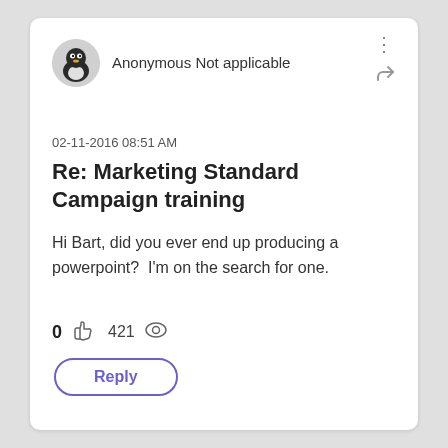[Figure (illustration): Anonymous user avatar: circular grey background with a dark penguin/bird mascot silhouette]
Anonymous Not applicable
02-11-2016 08:51 AM
Re: Marketing Standard Campaign training
Hi Bart, did you ever end up producing a powerpoint?  I'm on the search for one.
0  421
Reply